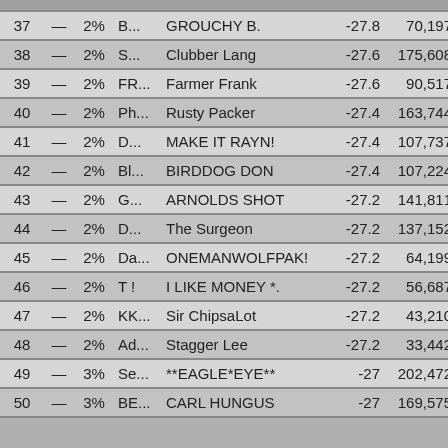| # |  | % | Code | Name | Val1 | Val2 | Val3 |
| --- | --- | --- | --- | --- | --- | --- | --- |
| 37 | — | 2% | B... | GROUCHY B. | -27.8 | 70,197 | 25,79 |
| 38 | — | 2% | S... | Clubber Lang | -27.6 | 175,608 | 26,57 |
| 39 | — | 2% | FR... | Farmer Frank | -27.6 | 90,517 | 24,73 |
| 40 | — | 2% | Ph... | Rusty Packer | -27.4 | 163,744 | 26,78 |
| 41 | — | 2% | D... | MAKE IT RAYN! | -27.4 | 107,737 | 27,65 |
| 42 | — | 2% | Bl... | BIRDDOG DON | -27.4 | 107,224 | 26,14 |
| 43 | — | 2% | G... | ARNOLDS SHOT | -27.2 | 141,811 | 25,98 |
| 44 | — | 2% | D... | The Surgeon | -27.2 | 137,152 | 26,22 |
| 45 | — | 2% | Da... | ONEMANWOLFPAK! | -27.2 | 64,199 | 25,06 |
| 46 | — | 2% | T ! | I LIKE MONEY *. | -27.2 | 56,687 | 24,25 |
| 47 | — | 2% | KK... | Sir ChipsaLot | -27.2 | 43,210 | 24,28 |
| 48 | — | 2% | Ad... | Stagger Lee | -27.2 | 33,442 | 25,69 |
| 49 | — | 3% | Se... | **EAGLE*EYE** | -27 | 202,472 | 28,49 |
| 50 | — | 3% | BE... | CARL HUNGUS | -27 | 169,575 | 31,09 |